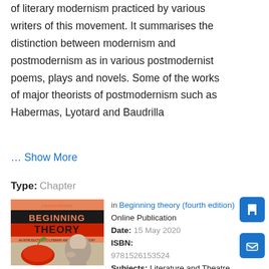of literary modernism practiced by various writers of this movement. It summarises the distinction between modernism and postmodernism as in various postmodernist poems, plays and novels. Some of the works of major theorists of postmodernism such as Habermas, Lyotard and Baudrilla
… Show More
Type: Chapter
[Figure (photo): Book cover of 'Beginning Theory: An Introduction to Literary and Cultural Theory' Fourth Edition, showing a red apple and a person thinking]
in Beginning theory (fourth edition) Online Publication Date: 15 May 2020 ISBN: 9781526153524 Subjects: Literature and Theatre